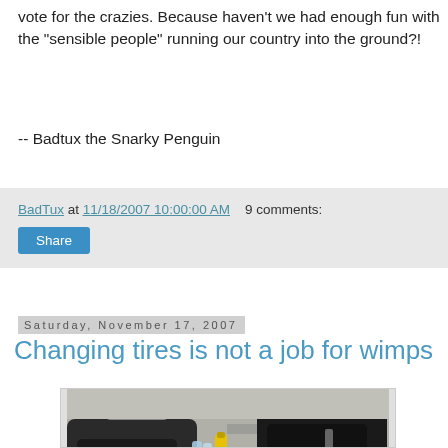vote for the crazies. Because haven't we had enough fun with the "sensible people" running our country into the ground?!
-- Badtux the Snarky Penguin
BadTux at 11/18/2007 10:00:00 AM   9 comments:
Share
Saturday, November 17, 2007
Changing tires is not a job for wimps
[Figure (photo): Two motorcycles parked in a garage with various items in the background including plastic bottles and garage equipment.]